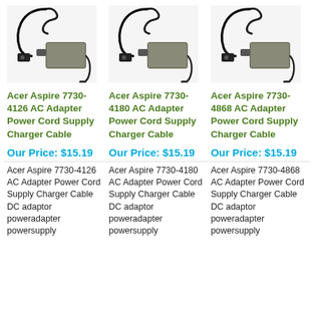[Figure (photo): Acer laptop AC adapter power cord with black cable and rectangular brick body]
[Figure (photo): Acer laptop AC adapter power cord with black cable and rectangular brick body]
[Figure (photo): Acer laptop AC adapter power cord with black cable and rectangular brick body]
Acer Aspire 7730-4126 AC Adapter Power Cord Supply Charger Cable
Acer Aspire 7730-4180 AC Adapter Power Cord Supply Charger Cable
Acer Aspire 7730-4868 AC Adapter Power Cord Supply Charger Cable
Our Price: $15.19
Our Price: $15.19
Our Price: $15.19
Acer Aspire 7730-4126 AC Adapter Power Cord Supply Charger Cable DC adaptor poweradapter powersupply
Acer Aspire 7730-4180 AC Adapter Power Cord Supply Charger Cable DC adaptor poweradapter powersupply
Acer Aspire 7730-4868 AC Adapter Power Cord Supply Charger Cable DC adaptor poweradapter powersupply